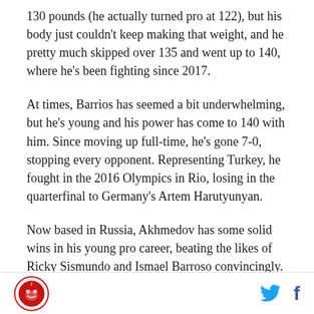130 pounds (he actually turned pro at 122), but his body just couldn't keep making that weight, and he pretty much skipped over 135 and went up to 140, where he's been fighting since 2017.
At times, Barrios has seemed a bit underwhelming, but he's young and his power has come to 140 with him. Since moving up full-time, he's gone 7-0, stopping every opponent. Representing Turkey, he fought in the 2016 Olympics in Rio, losing in the quarterfinal to Germany's Artem Harutyunyan.
Now based in Russia, Akhmedov has some solid wins in his young pro career, beating the likes of Ricky Sismundo and Ismael Barroso convincingly.
[logo] [twitter] [facebook]